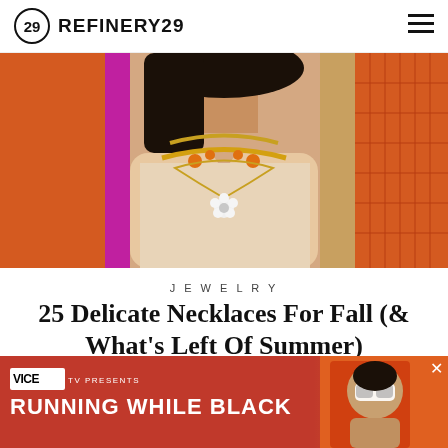REFINERY29
[Figure (photo): Close-up of a woman wearing layered gold chain necklaces with orange beads and floral pendant, wearing a cream off-shoulder top, with orange geometric decorative elements on the sides]
JEWELRY
25 Delicate Necklaces For Fall (& What's Left Of Summer)
ALYSSA COSCARELLI, EMILY RUANE, VIVIEN LEE
AUGUST 26, 2022 6:25 PM
[Figure (photo): VICE TV Presents: Running While Black advertisement banner with orange-red gradient background and person wearing goggles]